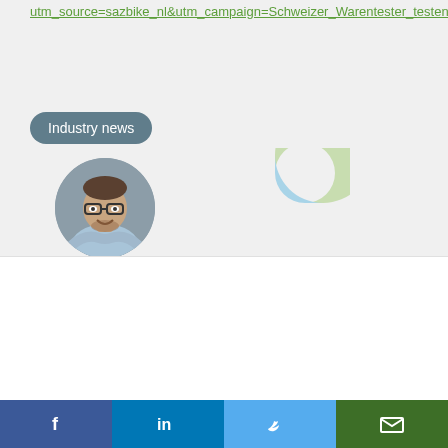utm_source=sazbike_nl&utm_campaign=Schweizer_Warentester_testen_Smartphonehalter_21102021&utm_medium=email
[Figure (other): Industry news tag button with rounded corners and dark gray background]
[Figure (photo): Circular profile photo of a man with glasses wearing a light blue shirt, arms crossed, smiling]
[Figure (donut-chart): Partial donut chart with light green and light blue segments, approximately 75% light green and 25% light blue]
We use cookies on our website to give you the most relevant experience by remembering your preferences and repeat visits. By clicking "Accept All", you consent to the use of ALL the cookies. However, you may visit "Cookie Settings" to provide a controlled consent.
Cookie Settings | Accept All
[Figure (infographic): Social share bar with four icons: Facebook (blue), LinkedIn (dark blue), Twitter (light blue), Email (green)]